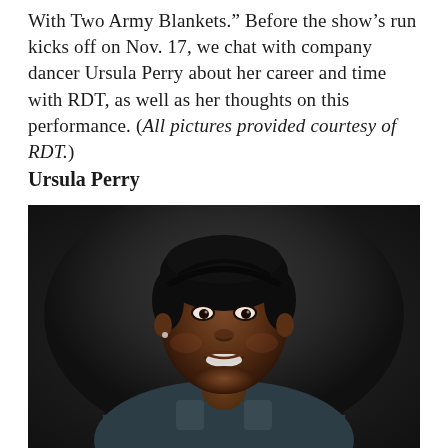With Two Army Blankets." Before the show's run kicks off on Nov. 17, we chat with company dancer Ursula Perry about her career and time with RDT, as well as her thoughts on this performance. (All pictures provided courtesy of RDT.)
Ursula Perry
[Figure (photo): Portrait photograph of Ursula Perry, a young Black woman with her hair pulled back, smiling broadly, wearing a dark gray tank top, photographed against a dark background.]